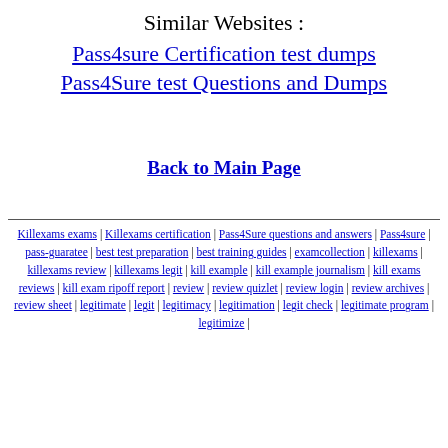Similar Websites :
Pass4sure Certification test dumps
Pass4Sure test Questions and Dumps
Back to Main Page
Killexams exams | Killexams certification | Pass4Sure questions and answers | Pass4sure | pass-guaratee | best test preparation | best training guides | examcollection | killexams | killexams review | killexams legit | kill example | kill example journalism | kill exams reviews | kill exam ripoff report | review | review quizlet | review login | review archives | review sheet | legitimate | legit | legitimacy | legitimation | legit check | legitimate program | legitimize |